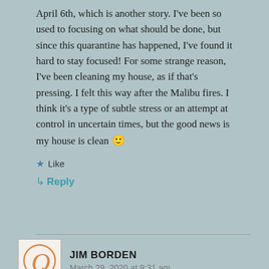April 6th, which is another story. I've been so used to focusing on what should be done, but since this quarantine has happened, I've found it hard to stay focused! For some strange reason, I've been cleaning my house, as if that's pressing. I felt this way after the Malibu fires. I think it's a type of subtle stress or an attempt at control in uncertain times, but the good news is my house is clean 🙂
Like
Reply
JIM BORDEN
March 29, 2020 at 9:31 am
what a wonderful idea; I think I am going to follow in your footsteps and order a couple of books (the